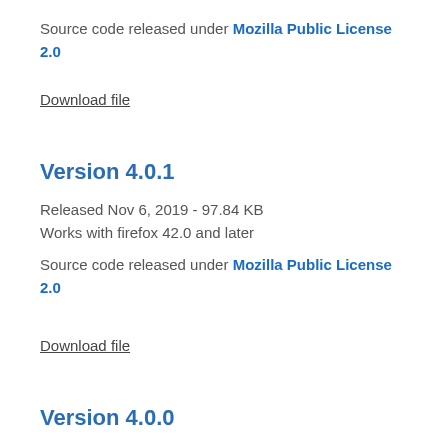Source code released under Mozilla Public License 2.0
Download file
Version 4.0.1
Released Nov 6, 2019 - 97.84 KB
Works with firefox 42.0 and later
Source code released under Mozilla Public License 2.0
Download file
Version 4.0.0
Released Sep 21, 2019 - 97.54 KB
Works with firefox 42.0 and later